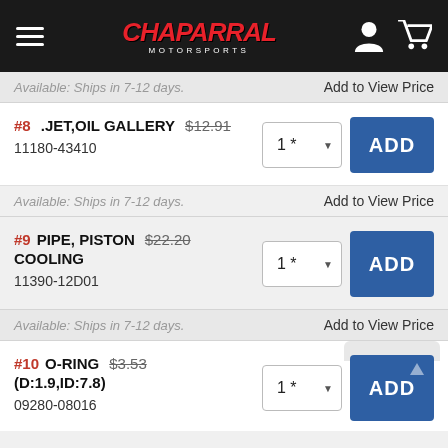Chaparral Motorsports
Available: Ships in 7-12 days.  Add to View Price
#8  .JET,OIL GALLERY  $12.91  1*  ADD
11180-43410
Available: Ships in 7-12 days.  Add to View Price
#9  PIPE, PISTON COOLING  $22.20  1*  ADD
11390-12D01
Available: Ships in 7-12 days.  Add to View Price
#10  O-RING (D:1.9,ID:7.8)  $3.53  1*  ADD
09280-08016